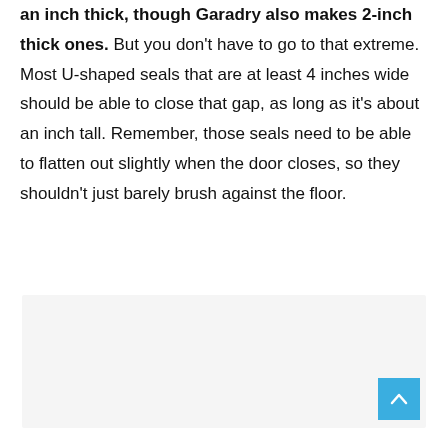an inch thick, though Garadry also makes 2-inch thick ones. But you don't have to go to that extreme. Most U-shaped seals that are at least 4 inches wide should be able to close that gap, as long as it's about an inch tall. Remember, those seals need to be able to flatten out slightly when the door closes, so they shouldn't just barely brush against the floor.